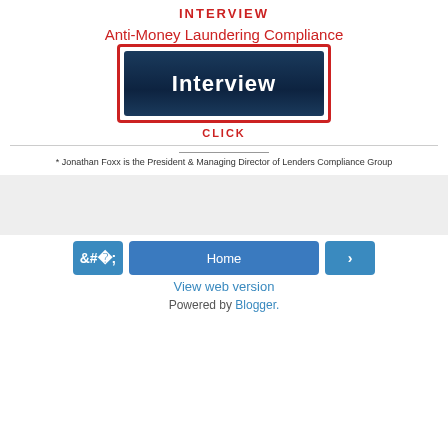INTERVIEW
Anti-Money Laundering Compliance
[Figure (screenshot): Dark navy blue button with white bold text reading 'Interview', surrounded by a red border frame]
CLICK
* Jonathan Foxx is the President & Managing Director of Lenders Compliance Group
[Figure (other): Gray rectangular banner/advertisement area]
Home
View web version
Powered by Blogger.